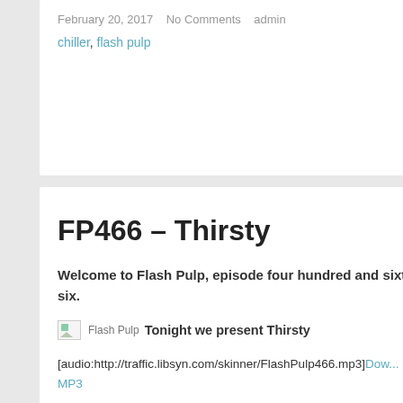February 20, 2017   No Comments   admin
chiller, flash pulp
FP466 – Thirsty
Welcome to Flash Pulp, episode four hundred and sixty-six.
Tonight we present Thirsty
[audio:http://traffic.libsyn.com/skinner/FlashPulp466.mp3]Download MP3
(RSS / iTunes)